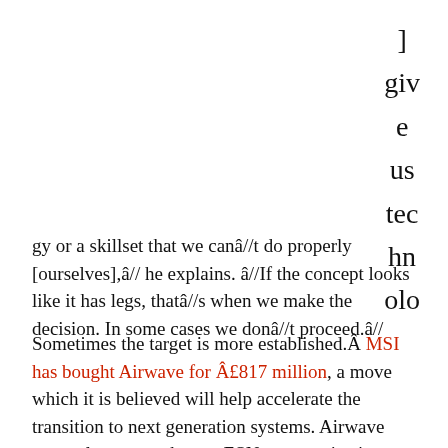] give us technology or a skillset that we canât do properly [ourselves],â he explains. âIf the concept looks like it has legs, thatâs when we make the decision. In some cases we donât proceed.â
Sometimes the target is more established.Â MSI has bought Airwave for Â£817 million, a move which it is believed will help accelerate the transition to next generation systems. Airwave currently powers the pre-ESN communications capability of the UK